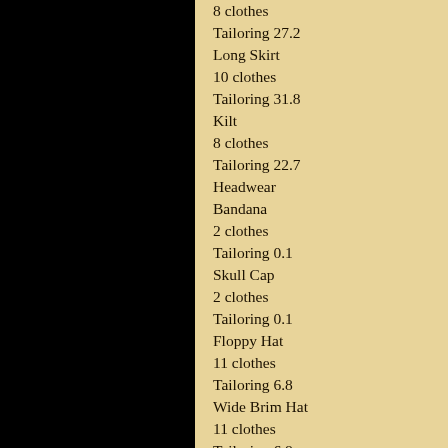8 clothes
Tailoring 27.2
Long Skirt
10 clothes
Tailoring 31.8
Kilt
8 clothes
Tailoring 22.7
Headwear
Bandana
2 clothes
Tailoring 0.1
Skull Cap
2 clothes
Tailoring 0.1
Floppy Hat
11 clothes
Tailoring 6.8
Wide Brim Hat
11 clothes
Tailoring 6.8
Feathered Hat
12 clothes
Tailoring 6.8
Tricorne Hat